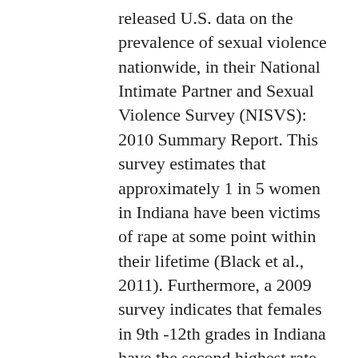released U.S. data on the prevalence of sexual violence nationwide, in their National Intimate Partner and Sexual Violence Survey (NISVS): 2010 Summary Report. This survey estimates that approximately 1 in 5 women in Indiana have been victims of rape at some point within their lifetime (Black et al., 2011). Furthermore, a 2009 survey indicates that females in 9th -12th grades in Indiana have the second highest rate in the nation of forced sexual intercourse (CDC, 2010).
...
In the survey, rape is defined as "any completed or attempted unwanted vaginal (for women), oral, or anal penetration through the use of physical